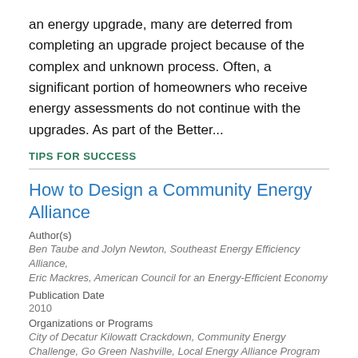an energy upgrade, many are deterred from completing an upgrade project because of the complex and unknown process. Often, a significant portion of homeowners who receive energy assessments do not continue with the upgrades. As part of the Better...
TIPS FOR SUCCESS
How to Design a Community Energy Alliance
Author(s)
Ben Taube and Jolyn Newton, Southeast Energy Efficiency Alliance, Eric Mackres, American Council for an Energy-Efficient Economy
Publication Date
2010
Organizations or Programs
City of Decatur Kilowatt Crackdown, Community Energy Challenge, Go Green Nashville, Local Energy Alliance Program (LEAP)
Webcast on how to design a community energy alliance.
RESOURCE - WEBCAST